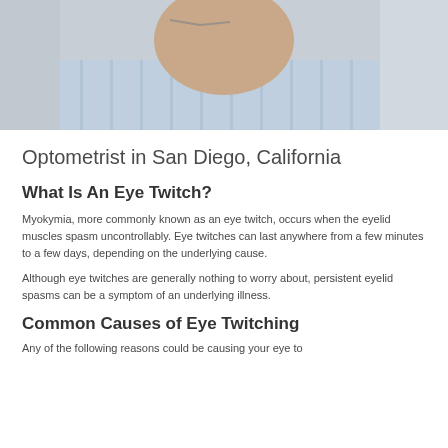[Figure (photo): Close-up photo of an older person holding eyeglasses, wearing a light blue striped shirt, cropped to show neck and lower face area.]
Optometrist in San Diego, California
What Is An Eye Twitch?
Myokymia, more commonly known as an eye twitch, occurs when the eyelid muscles spasm uncontrollably. Eye twitches can last anywhere from a few minutes to a few days, depending on the underlying cause.
Although eye twitches are generally nothing to worry about, persistent eyelid spasms can be a symptom of an underlying illness.
Common Causes of Eye Twitching
Any of the following reasons could be causing your eye to